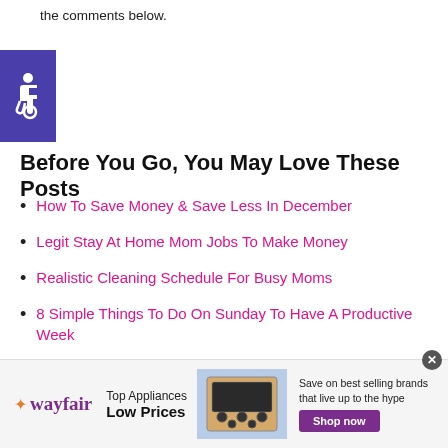the comments below.
[Figure (logo): Accessibility icon (wheelchair symbol) on a purple/blue square background]
Before You Go, You May Love These Posts
How To Save Money & Save Less In December
Legit Stay At Home Mom Jobs To Make Money
Realistic Cleaning Schedule For Busy Moms
8 Simple Things To Do On Sunday To Have A Productive Week
[Figure (infographic): Wayfair advertisement banner: Wayfair logo, Top Appliances Low Prices text, image of stove/range appliance, Save on best selling brands that live up to the hype, Shop now button]